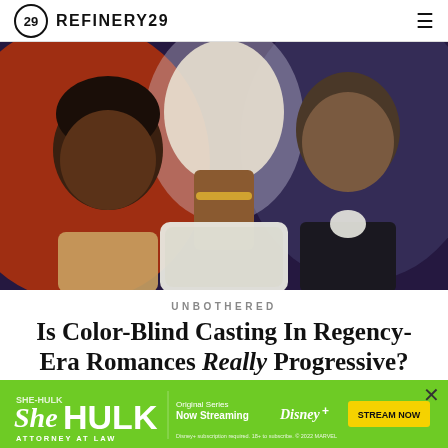REFINERY29
[Figure (photo): Promotional image for Bridgerton / a Regency-era romance show. Three actors posed together: a Black man on the left looking intense, a Black woman in the center wearing a white lace dress and gold necklace, and an Asian man on the right in period attire with a white cravat. Background is reddish-orange and purple tones.]
UNBOTHERED
Is Color-Blind Casting In Regency-Era Romances Really Progressive?
[Figure (screenshot): She-Hulk: Attorney at Law advertisement banner. Green background with white She-Hulk logo text, Disney+ logo, and 'STREAM NOW' button in yellow. Text reads 'Original series Now Streaming' and fine print about Disney+ subscription.]